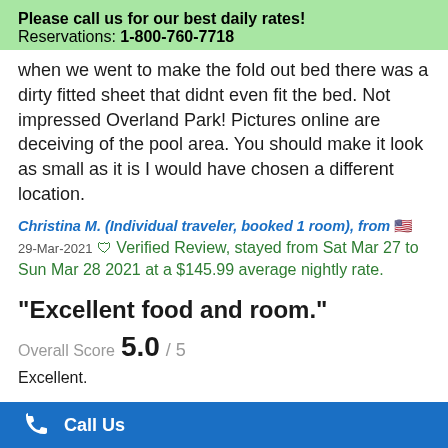Please call us for our best daily rates!
Reservations: 1-800-760-7718
when we went to make the fold out bed there was a dirty fitted sheet that didnt even fit the bed. Not impressed Overland Park! Pictures online are deceiving of the pool area. You should make it look as small as it is I would have chosen a different location.
Christina M. (Individual traveler, booked 1 room), from 🇺🇸
29-Mar-2021 ✓ Verified Review, stayed from Sat Mar 27 to Sun Mar 28 2021 at a $145.99 average nightly rate.
"Excellent food and room."
Overall Score 5.0 / 5
Excellent.
Call Us